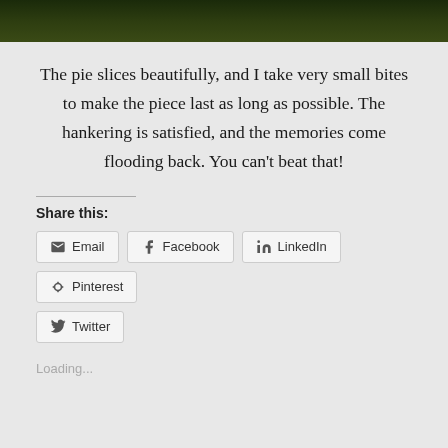[Figure (photo): Dark green/black image strip at the top of the page, appears to be foliage or nature photo cropped at top.]
The pie slices beautifully, and I take very small bites to make the piece last as long as possible. The hankering is satisfied, and the memories come flooding back. You can’t beat that!
Share this:
Email
Facebook
LinkedIn
Pinterest
Twitter
Loading...